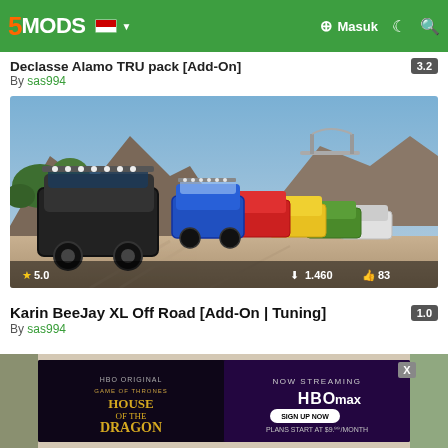5MODS navigation bar with logo, flag, Masuk login, and icons
Declasse Alamo TRU pack [Add-On]
By sas994
[Figure (screenshot): Screenshot of multiple off-road SUVs parked on a dirt trail surrounded by rocky cliff terrain. Rating star 5.0, downloads 1,460, likes 83.]
Karin BeeJay XL Off Road [Add-On | Tuning]
By sas994
[Figure (screenshot): House of the Dragon HBO advertisement banner. Left side dark purple with HBO Original Game of Thrones branding and HOUSE OF THE DRAGON title. Right side shows NOW STREAMING HBOmax SIGN UP NOW PLANS START AT $9.99/MONTH.]